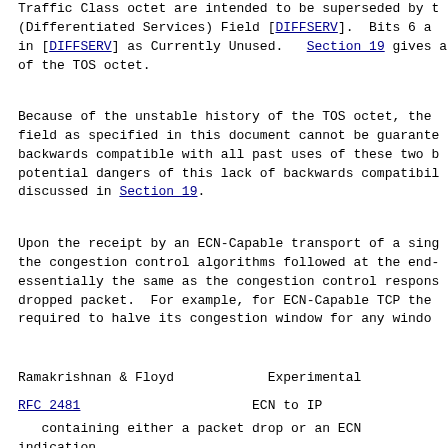Traffic Class octet are intended to be superseded by the DS (Differentiated Services) Field [DIFFSERV].  Bits 6 and 7 in [DIFFSERV] as Currently Unused.  Section 19 gives a discussion of the TOS octet.
Because of the unstable history of the TOS octet, the use of the field as specified in this document cannot be guaranteed to be backwards compatible with all past uses of these two bits.  The potential dangers of this lack of backwards compatibility are discussed in Section 19.
Upon the receipt by an ECN-Capable transport of a single CE packet, the congestion control algorithms followed at the end-system are essentially the same as the congestion control response to a single dropped packet.  For example, for ECN-Capable TCP the sender is required to halve its congestion window for any window containing
Ramakrishnan & Floyd          Experimental
RFC 2481                       ECN to IP
containing either a packet drop or an ECN indication.  We would like to point out some notable exceptions in the behavior of the source TCP, related to following the shorter-time- of particular implementations of TCP.  For TCP's response to an ECN indication, we do not recommend such behavior as the s Tahoe TCP in response to a packet drop, or Reno TCP's